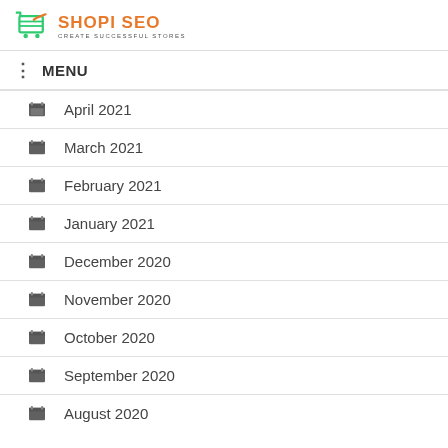SHOPI SEO — CREATE SUCCESSFUL STORES
MENU
April 2021
March 2021
February 2021
January 2021
December 2020
November 2020
October 2020
September 2020
August 2020